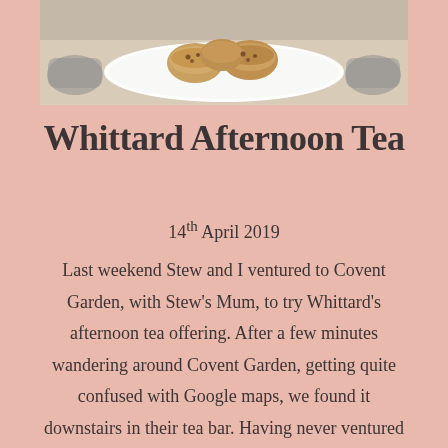[Figure (photo): Photo of scones on a white plate, viewed from above, with teacups visible at the edges]
Whittard Afternoon Tea
14th April 2019
Last weekend Stew and I ventured to Covent Garden, with Stew's Mum, to try Whittard's afternoon tea offering. After a few minutes wandering around Covent Garden, getting quite confused with Google maps, we found it downstairs in their tea bar. Having never ventured downstairs in the market, I didn't realise how many gems were hiding [...]